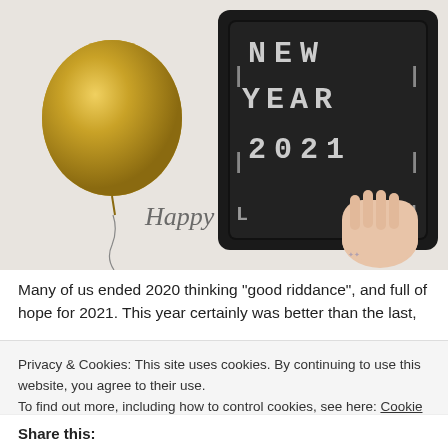[Figure (photo): A person holding a black letter board that reads 'NEW YEAR 2021' with pixel-style letters. A golden balloon is visible on the left side, along with 'Happy' written in cursive. Background is light grey/white.]
Many of us ended 2020 thinking "good riddance", and full of hope for 2021. This year certainly was better than the last,
Privacy & Cookies: This site uses cookies. By continuing to use this website, you agree to their use.
To find out more, including how to control cookies, see here: Cookie Policy
Close and accept
Share this: